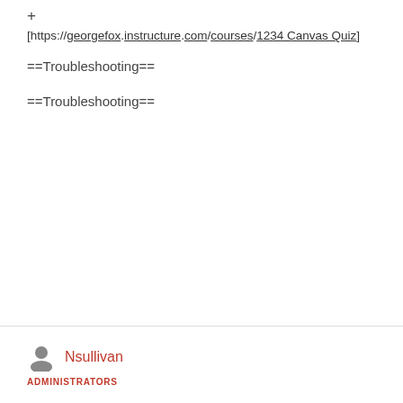+
[https://georgefox.instructure.com/courses/1234 Canvas Quiz]
==Troubleshooting==
==Troubleshooting==
Nsullivan
ADMINISTRATORS